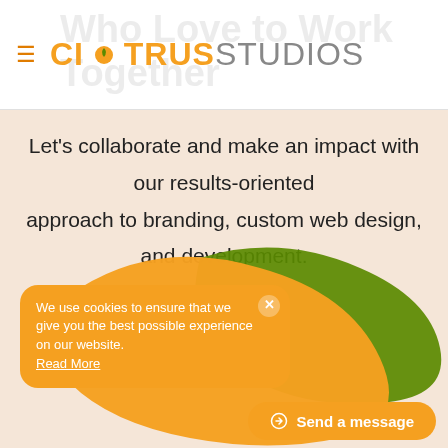[Figure (logo): Citrus Studios logo with orange CITRUS text and gray STUDIOS text, hamburger menu icon on left, watermark background text 'Who Love to Work Together']
Let's collaborate and make an impact with our results-oriented approach to branding, custom web design, and development.
[Figure (illustration): Orange and green organic blob shapes overlapping at bottom of page]
We use cookies to ensure that we give you the best possible experience on our website. Read More
Send a message